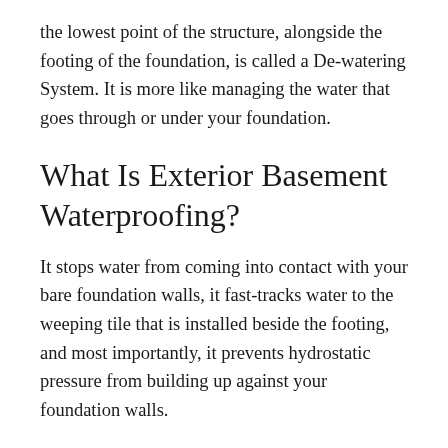the lowest point of the structure, alongside the footing of the foundation, is called a De-watering System. It is more like managing the water that goes through or under your foundation.
What Is Exterior Basement Waterproofing?
It stops water from coming into contact with your bare foundation walls, it fast-tracks water to the weeping tile that is installed beside the footing, and most importantly, it prevents hydrostatic pressure from building up against your foundation walls.
Which method works best for you? The following